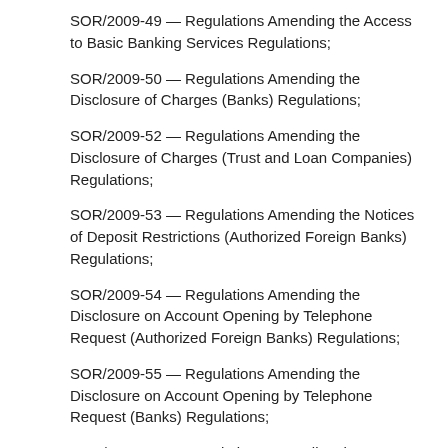SOR/2009-49 — Regulations Amending the Access to Basic Banking Services Regulations;
SOR/2009-50 — Regulations Amending the Disclosure of Charges (Banks) Regulations;
SOR/2009-52 — Regulations Amending the Disclosure of Charges (Trust and Loan Companies) Regulations;
SOR/2009-53 — Regulations Amending the Notices of Deposit Restrictions (Authorized Foreign Banks) Regulations;
SOR/2009-54 — Regulations Amending the Disclosure on Account Opening by Telephone Request (Authorized Foreign Banks) Regulations;
SOR/2009-55 — Regulations Amending the Disclosure on Account Opening by Telephone Request (Banks) Regulations;
SOR/2009-56 — Regulations Amending the Disclosure on Account Opening by Telephone Request (Retail Associations) Regulations;
SOR/2009-57 — Regulations Amending the Disclosure on Account Opening by Telephone Request (Trust and Loan Companies) Regulations;